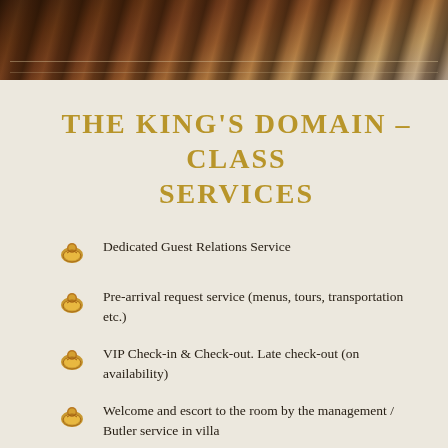[Figure (photo): Decorative photo strip showing wooden floor with rugs, viewed from above]
THE KING'S DOMAIN – CLASS SERVICES
Dedicated Guest Relations Service
Pre-arrival request service (menus, tours, transportation etc.)
VIP Check-in & Check-out. Late check-out (on availability)
Welcome and escort to the room by the management / Butler service in villa
Welcome drink and traditional refreshment in arrival